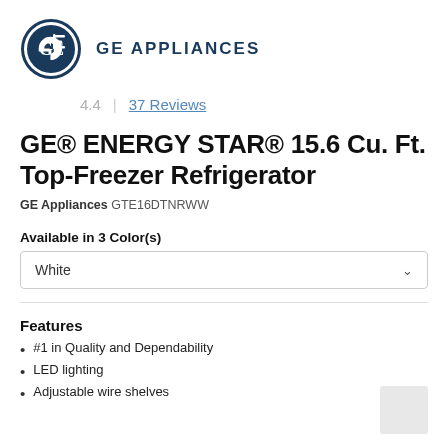[Figure (logo): GE Appliances circular logo in dark blue with stylized GE monogram, followed by 'GE APPLIANCES' text in bold dark blue]
4.4  |  37 Reviews
GE® ENERGY STAR® 15.6 Cu. Ft. Top-Freezer Refrigerator
GE Appliances GTE16DTNRWW
Available in 3 Color(s)
White
Features
#1 in Quality and Dependability
LED lighting
Adjustable wire shelves